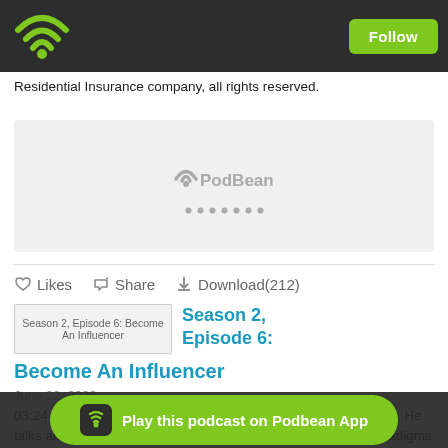Podbean app header with WiFi/logo icon and Follow button
Residential Insurance company, all rights reserved.
[Figure (screenshot): PodBean audio player embed placeholder]
Likes   Share   Download(212)
[Figure (screenshot): Season 2, Episode 6: Become An Influencer thumbnail image]
Season 2, Episode 6:
Become An Influencer
June 22, 2020
03:24 - Blaine introduces today's theme, becoming an influencer. He talks about today's episode going a bit differently, there are paradigms involved with becoming an influencer. Blaine defines the word 'pa...
Play this podcast on Podbean App